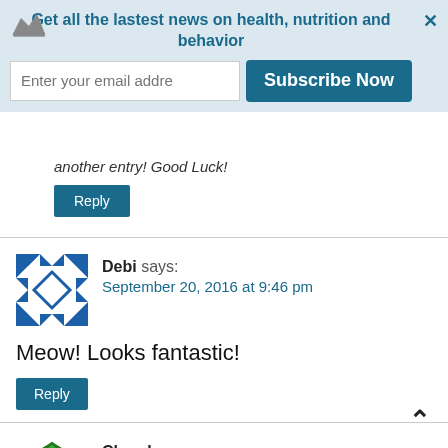[Figure (infographic): Email subscription notification banner with crown icon, close button, text, email input and Subscribe Now button]
another entry! Good Luck!
Reply
[Figure (illustration): Blue geometric avatar for user Debi]
Debi says: September 20, 2016 at 9:46 pm
Meow! Looks fantastic!
Reply
[Figure (illustration): Green diamond pattern avatar for user Cheryl]
Cheryl says: September 20, 2016 at 8:33 pm
Super giveaway. Thanks 🙂